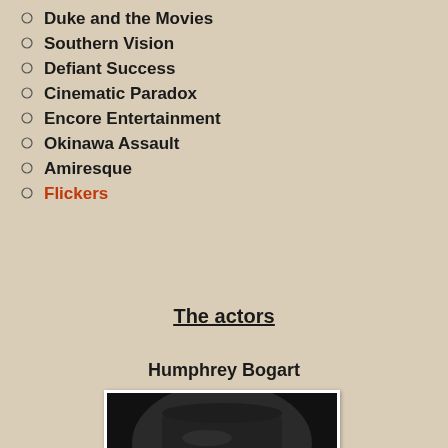Duke and the Movies
Southern Vision
Defiant Success
Cinematic Paradox
Encore Entertainment
Okinawa Assault
Amiresque
Flickers
The actors
Humphrey Bogart
[Figure (photo): Black and white portrait photograph of Humphrey Bogart wearing a wide-brimmed cowboy hat, looking slightly to the side with a slight smile.]